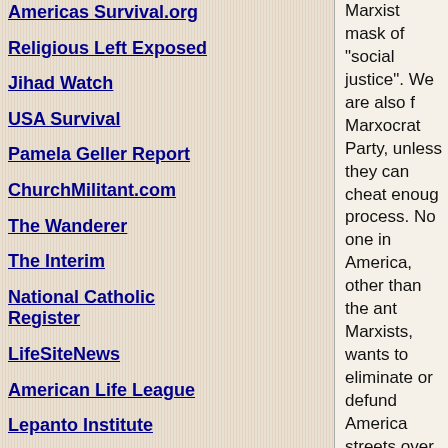Americas Survival.org
Religious Left Exposed
Jihad Watch
USA Survival
Pamela Geller Report
ChurchMilitant.com
The Wanderer
The Interim
National Catholic Register
LifeSiteNews
American Life League
Lepanto Institute
AMAC.us
IDVolution
Marxist mask of "social justice". We are also fighting the Marxocrat Party, unless they can cheat enough to win the election process. No one in America, other than the anti-American Marxists, wants to eliminate or defund American police and turn streets over to these disgusting animals.
But the Marxocrats intend to keep the Pandemic going past election, and the Republicrats, as a Party, don't
And it's the same situation with the orchestrated riots and and the political crippling of local police forces. Leading up to election day, when the Black Panthers and other thugs might even attack any pro-American voters in any precinct that might are allowed to be open. It's their last ditch stan
They are going crazy, and that's why I smell a m
I can smell a Trumpian Reestablishment of the
I can smell an Outlawing of Political Parties.
I can smell the recognition of past Impeachable of Constitution violators.
I can smell Banishment as an established legal
How will we do partisan politics without Po
Partisanship will focus on Amending the Cons